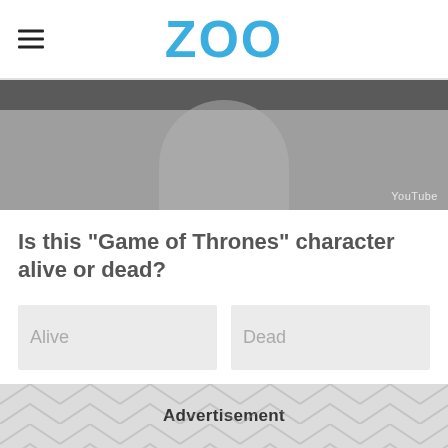ZOO
[Figure (photo): Grayscale screenshot of a Game of Thrones character, partially visible, with a YouTube watermark in the bottom right corner.]
Is this "Game of Thrones" character alive or dead?
Alive
Dead
Advertisement